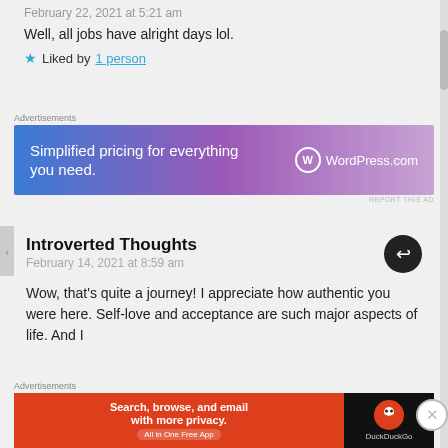February 22, 2021 at 5:21 am
Well, all jobs have alright days lol.
★ Liked by 1 person
Advertisements
[Figure (other): WordPress.com advertisement banner: 'Simplified pricing for everything you need.' with WordPress.com logo]
REPORT THIS AD
Introverted Thoughts
February 14, 2021 at 8:59 am
Wow, that's quite a journey! I appreciate how authentic you were here. Self-love and acceptance are such major aspects of life. And I
Advertisements
[Figure (other): DuckDuckGo advertisement banner: 'Search, browse, and email with more privacy. All in One Free App' with DuckDuckGo logo]